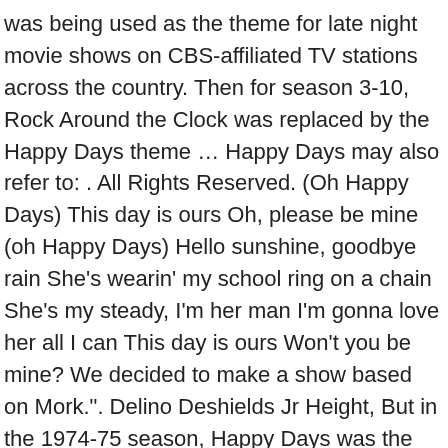was being used as the theme for late night movie shows on CBS-affiliated TV stations across the country. Then for season 3-10, Rock Around the Clock was replaced by the Happy Days theme … Happy Days may also refer to: . All Rights Reserved. (Oh Happy Days) This day is ours Oh, please be mine (oh Happy Days) Hello sunshine, goodbye rain She's wearin' my school ring on a chain She's my steady, I'm her man I'm gonna love her all I can This day is ours Won't you be mine? We decided to make a show based on Mork.". Delino Deshields Jr Height, But in the 1974-75 season, Happy Days was the #48 show in the ratings, running opposite CBS's immensely popular Good Times and tied with the forgotten NBC legal drama Petrocelli. No one believes Richie's claims that he not only saw a flying saucer but personally interviewed its pilot, an alien